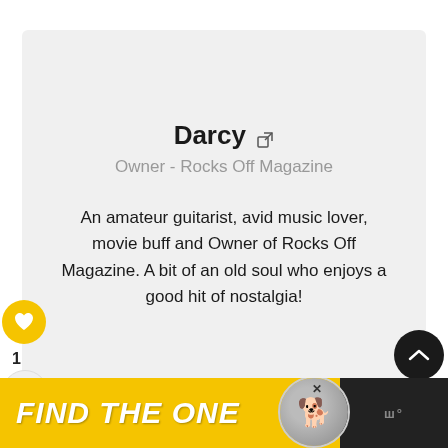Darcy
Owner - Rocks Off Magazine
An amateur guitarist, avid music lover, movie buff and Owner of Rocks Off Magazine. A bit of an old soul who enjoys a good hit of nostalgia!
[Figure (screenshot): Ad banner: FIND THE ONE with dog photo and brand logo]